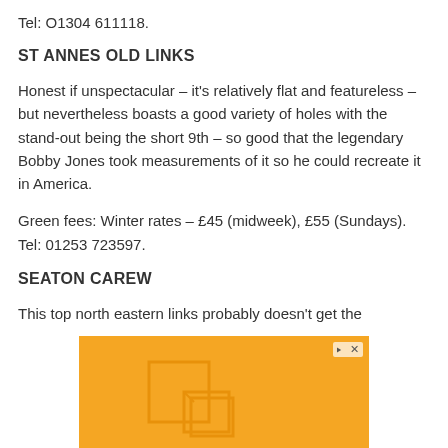Tel: O1304 611118.
ST ANNES OLD LINKS
Honest if unspectacular – it's relatively flat and featureless – but nevertheless boasts a good variety of holes with the stand-out being the short 9th – so good that the legendary Bobby Jones took measurements of it so he could recreate it in America.
Green fees: Winter rates – £45 (midweek), £55 (Sundays). Tel: 01253 723597.
SEATON CAREW
This top north eastern links probably doesn't get the
[Figure (other): Orange advertisement banner with geometric square graphic and close button (play/X icons) in top right corner.]